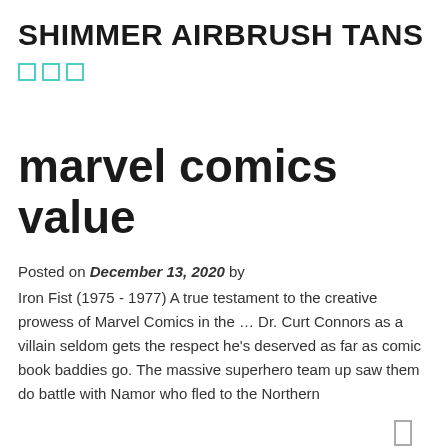SHIMMER AIRBRUSH TANS
[Figure (other): Three small teal/cyan square social media icons]
[Figure (other): Small gray rectangle icon on the right side, possibly a sidebar toggle]
marvel comics value
Posted on December 13, 2020 by
Iron Fist (1975 - 1977) A true testament to the creative prowess of Marvel Comics in the … Dr. Curt Connors as a villain seldom gets the respect he's deserved as far as comic book baddies go. The massive superhero team up saw them do battle with Namor who fled to the Northern